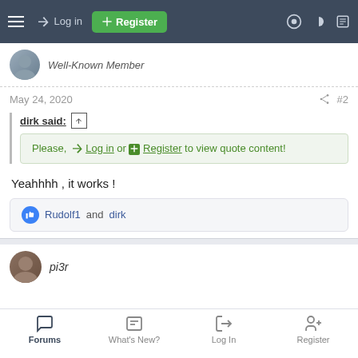Log in | Register
Well-Known Member
May 24, 2020   #2
dirk said: ↑
Please, Log in or Register to view quote content!
Yeahhhh , it works !
👍 Rudolf1 and dirk
pi3r
Forums | What's New? | Log In | Register